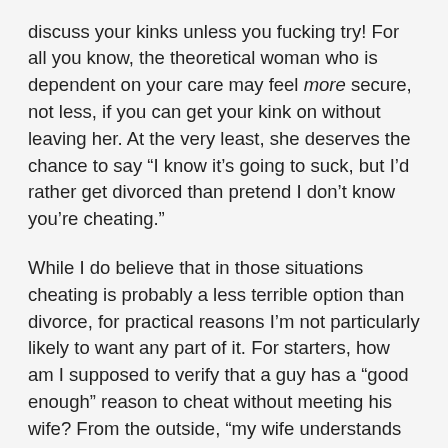discuss your kinks unless you fucking try! For all you know, the theoretical woman who is dependent on your care may feel more secure, not less, if you can get your kink on without leaving her. At the very least, she deserves the chance to say "I know it's going to suck, but I'd rather get divorced than pretend I don't know you're cheating."

While I do believe that in those situations cheating is probably a less terrible option than divorce, for practical reasons I'm not particularly likely to want any part of it. For starters, how am I supposed to verify that a guy has a "good enough" reason to cheat without meeting his wife? From the outside, "my wife understands but doesn't want to meet you" looks an awful lot like "my wife has no idea what's going on and would be devastated if she found out". And since I'm a shitty liar, how am I supposed to talk with his wife without her figuring out that something is up? Even if I could somehow be really really sure that everything he was telling me about his situation was true I still wouldn't be interested in constantly worrying that his wife would find out, or in managing the drama when she did find out, or in being hidden away from the rest of his life as though